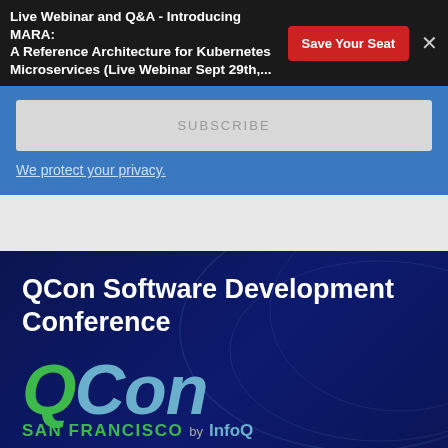Live Webinar and Q&A - Introducing MARA: A Reference Architecture for Kubernetes Microservices (Live Webinar Sept 29th,...
SUBSCRIBE
We protect your privacy.
QCon Software Development Conference
[Figure (logo): QCon San Francisco by InfoQ logo — large stylized 'QCon' text with Q in green and Con in blue, subtitle 'SAN FRANCISCO by InfoQ']
Real-world technical talks. No product